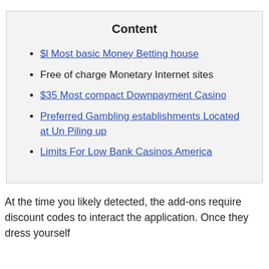Content
$l Most basic Money Betting house
Free of charge Monetary Internet sites
$35 Most compact Downpayment Casino
Preferred Gambling establishments Located at Un Piling up
Limits For Low Bank Casinos America
At the time you likely detected, the add-ons require discount codes to interact the application. Once they dress yourself